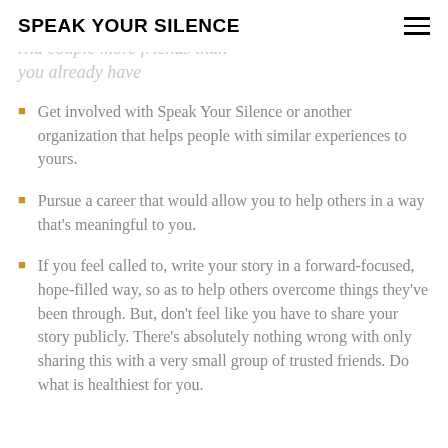SPEAK YOUR SILENCE
…a couple more friends than you already have
Get involved with Speak Your Silence or another organization that helps people with similar experiences to yours.
Pursue a career that would allow you to help others in a way that's meaningful to you.
If you feel called to, write your story in a forward-focused, hope-filled way, so as to help others overcome things they've been through. But, don't feel like you have to share your story publicly. There's absolutely nothing wrong with only sharing this with a very small group of trusted friends. Do what is healthiest for you.